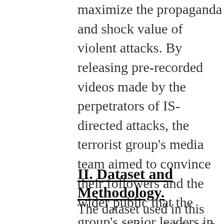maximize the propaganda and shock value of violent attacks. By releasing pre-recorded videos made by the perpetrators of IS-directed attacks, the terrorist group's media team aimed to convince their followers and the wider public that the group's senior leaders in Syria carefully planned, orchestrated, and directed the violent attacks.[63]
II. Dataset and Methodology.
The dataset used in this paper consists of 181 U.S. residents who supported IS and who were arrested or killed while committing attacks in the United States